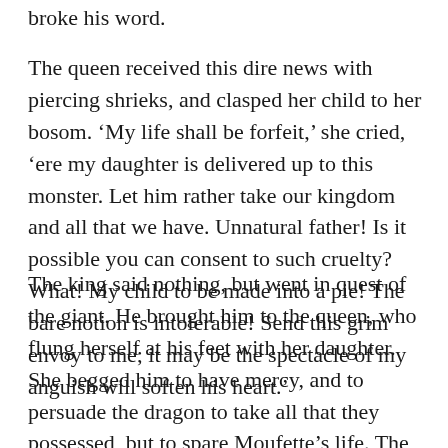broke his word.
The queen received this dire news with piercing shrieks, and clasped her child to her bosom. ‘My life shall be forfeit,’ she cried, ‘ere my daughter is delivered up to this monster. Let him rather take our kingdom and all that we have. Unnatural father! Is it possible you can consent to such cruelty? What! My child to be made into a pie! The bare notion is intolerable! Send this grim envoy to me; it may be the spectacle of my anguish will soften his heart.’
The king said nothing, but went in quest of the giant. He brought him to the queen, who flung herself at his feet with her daughter. She begged him to have mercy, and to persuade the dragon to take all that they possessed, but to spare Moufette’s life. The giant replied, however, that the